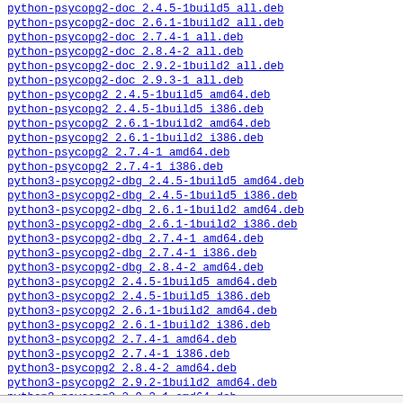python-psycopg2-doc 2.4.5-1build5 all.deb
python-psycopg2-doc 2.6.1-1build2 all.deb
python-psycopg2-doc 2.7.4-1 all.deb
python-psycopg2-doc 2.8.4-2 all.deb
python-psycopg2-doc 2.9.2-1build2 all.deb
python-psycopg2-doc 2.9.3-1 all.deb
python-psycopg2 2.4.5-1build5 amd64.deb
python-psycopg2 2.4.5-1build5 i386.deb
python-psycopg2 2.6.1-1build2 amd64.deb
python-psycopg2 2.6.1-1build2 i386.deb
python-psycopg2 2.7.4-1 amd64.deb
python-psycopg2 2.7.4-1 i386.deb
python3-psycopg2-dbg 2.4.5-1build5 amd64.deb
python3-psycopg2-dbg 2.4.5-1build5 i386.deb
python3-psycopg2-dbg 2.6.1-1build2 amd64.deb
python3-psycopg2-dbg 2.6.1-1build2 i386.deb
python3-psycopg2-dbg 2.7.4-1 amd64.deb
python3-psycopg2-dbg 2.7.4-1 i386.deb
python3-psycopg2-dbg 2.8.4-2 amd64.deb
python3-psycopg2 2.4.5-1build5 amd64.deb
python3-psycopg2 2.4.5-1build5 i386.deb
python3-psycopg2 2.6.1-1build2 amd64.deb
python3-psycopg2 2.6.1-1build2 i386.deb
python3-psycopg2 2.7.4-1 amd64.deb
python3-psycopg2 2.7.4-1 i386.deb
python3-psycopg2 2.8.4-2 amd64.deb
python3-psycopg2 2.9.2-1build2 amd64.deb
python3-psycopg2 2.9.3-1 amd64.deb